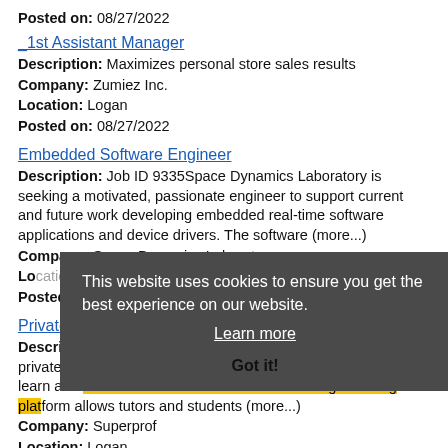Posted on: 08/27/2022
_1st Assistant Manager
Description: Maximizes personal store sales results
Company: Zumiez Inc.
Location: Logan
Posted on: 08/27/2022
Embedded Software Engineer
Description: Job ID 9335Space Dynamics Laboratory is seeking a motivated, passionate engineer to support current and future work developing embedded real-time software applications and device drivers. The software (more...)
Company: Space Dynamics Laboratory
Location: [overlaid]
Posted on: 08/27/2022
Private Mathemati...
Description: Company br Superprof is the USA's leader in private tutoring and dedicated to connecting those who want to learn and those who want to teach. Our knowledge-sharing platform allows tutors and students (more...)
Company: Superprof
Location: Logan
This website uses cookies to ensure you get the best experience on our website. Learn more Got it!